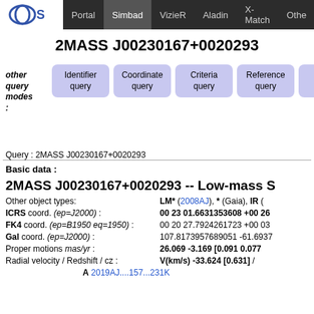Portal | Simbad | VizieR | Aladin | X-Match | Other
2MASS J00230167+0020293
other query modes: Identifier query | Coordinate query | Criteria query | Reference query | Basic query
Query : 2MASS J00230167+0020293
Basic data :
2MASS J00230167+0020293 -- Low-mass S
Other object types: LM* (2008AJ), * (Gaia), IR (
ICRS coord. (ep=J2000) : 00 23 01.6631353608 +00 26
FK4 coord. (ep=B1950 eq=1950) : 00 20 27.7924261723 +00 03
Gal coord. (ep=J2000) : 107.8173957689051 -61.6937
Proper motions mas/yr : 26.069 -3.169 [0.091 0.077
Radial velocity / Redshift / cz : V(km/s) -33.624 [0.631] /
A 2019AJ....157...231K